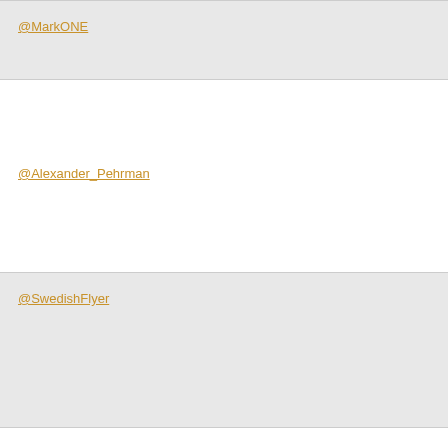@MarkONE
@Alexander_Pehrman
@SwedishFlyer
@lsgrena
@mis_6309